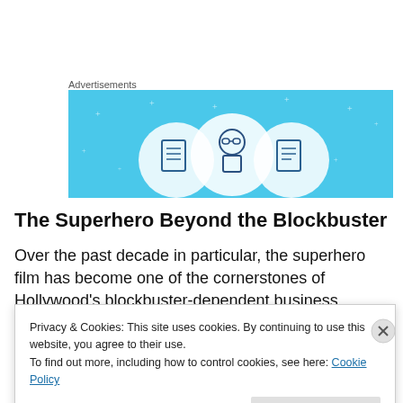Advertisements
[Figure (illustration): Blue advertisement banner with three circular icons showing document/robot/document figures on a light blue background with sparkle decorations]
The Superhero Beyond the Blockbuster
Over the past decade in particular, the superhero film has become one of the cornerstones of Hollywood’s blockbuster-dependent business model. Its roots in other media ensure a built-in audience and deep cultural
Privacy & Cookies: This site uses cookies. By continuing to use this website, you agree to their use.
To find out more, including how to control cookies, see here: Cookie Policy
Close and accept